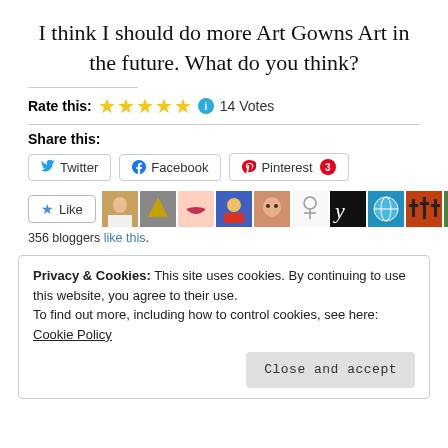I think I should do more Art Gowns Art in the future. What do you think?
Rate this: ★★★★★  14 Votes
Share this:
Twitter  Facebook  Pinterest 3
Like  356 bloggers like this.
Privacy & Cookies: This site uses cookies. By continuing to use this website, you agree to their use.
To find out more, including how to control cookies, see here: Cookie Policy
Close and accept